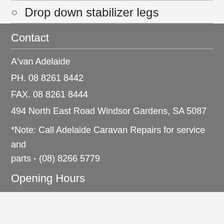Drop down stabilizer legs
Contact
A'van Adelaide
PH. 08 8261 8442
FAX. 08 8261 8444
494 North East Road Windsor Gardens, SA 5087
*Note: Call Adelaide Caravan Repairs for service and parts - (08) 8266 5779
Opening Hours